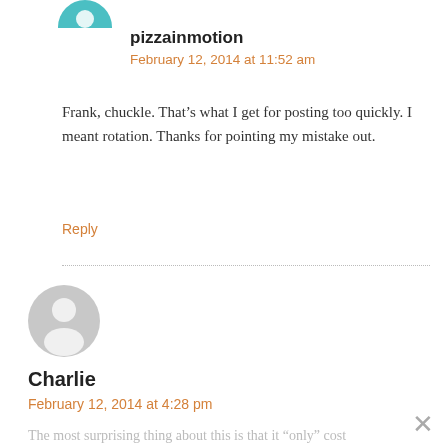[Figure (illustration): Partial teal/blue circular avatar icon at top, cropped]
pizzainmotion
February 12, 2014 at 11:52 am
Frank, chuckle. That’s what I get for posting too quickly. I meant rotation. Thanks for pointing my mistake out.
Reply
[Figure (illustration): Gray circular default avatar icon]
Charlie
February 12, 2014 at 4:28 pm
The most surprising thing about this is that it “only” cost